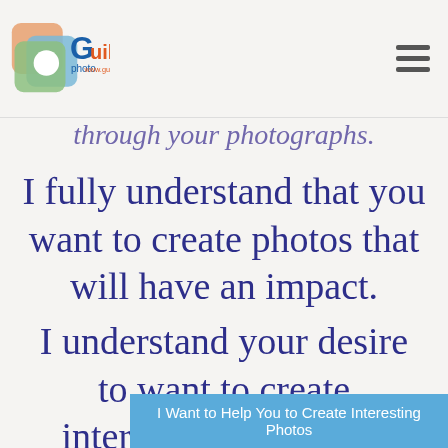Guillen photo www.guillenphoto.com
through your photographs.
I fully understand that you want to create photos that will have an impact.
I understand your desire to want to create interesting photos for competitions,
I Want to Help You to Create Interesting Photos